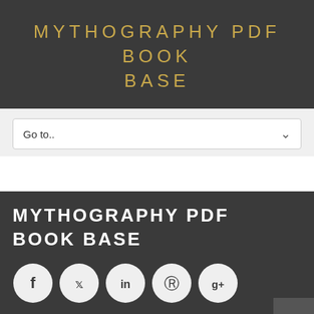MYTHOGRAPHY PDF BOOK BASE
Go to..
MYTHOGRAPHY PDF BOOK BASE
[Figure (infographic): Row of five social media icon buttons (Facebook, Twitter, LinkedIn, Pinterest, Google+) as white circles on dark background]
New books
Learning To Write "indian": The Boarding School Experience